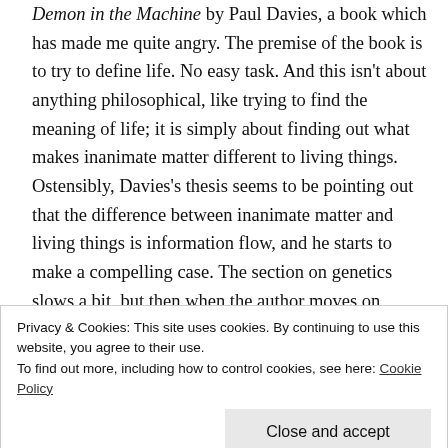Demon in the Machine by Paul Davies, a book which has made me quite angry. The premise of the book is to try to define life. No easy task. And this isn't about anything philosophical, like trying to find the meaning of life; it is simply about finding out what makes inanimate matter different to living things. Ostensibly, Davies's thesis seems to be pointing out that the difference between inanimate matter and living things is information flow, and he starts to make a compelling case. The section on genetics slows a bit, but then when the author moves on
Privacy & Cookies: This site uses cookies. By continuing to use this website, you agree to their use.
To find out more, including how to control cookies, see here: Cookie Policy
Close and accept
nurture around autism. But then Davies takes a